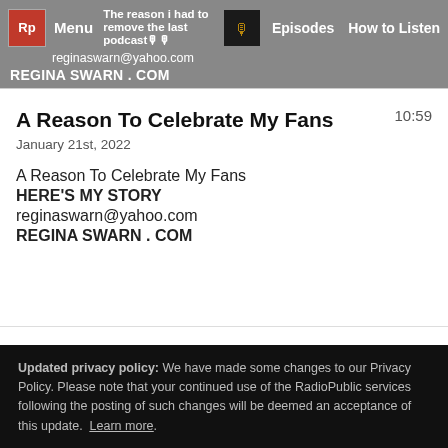The reason i had to remove the last podcast🎙️🎙️ reginaswarn@yahoo.com | Menu | Episodes | How to Listen | REGINA SWARN . COM
A Reason To Celebrate My Fans
January 21st, 2022
10:59
A Reason To Celebrate My Fans
HERE'S MY STORY
reginaswarn@yahoo.com
REGINA SWARN . COM
Updated privacy policy: We have made some changes to our Privacy Policy. Please note that your continued use of the RadioPublic services following the posting of such changes will be deemed an acceptance of this update. Learn more.